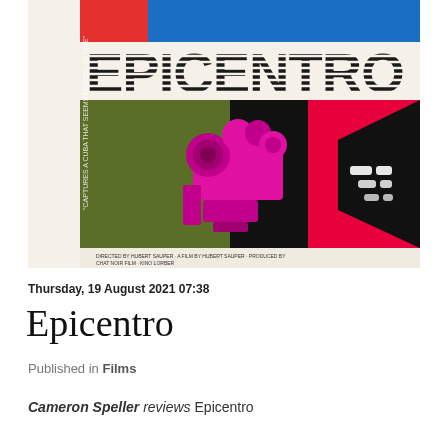[Figure (illustration): Movie poster for Epicentro documentary. Cream/off-white background. Top section has blue and red/pink geometric shapes. Large bold striped text reading EPICENTRO in black. Lower section shows a magenta/pink vintage film camera silhouette on an olive green background, with a beam of pink/red light projecting diagonally across a black background with white dashed shapes. Small credits text at bottom of poster.]
Thursday, 19 August 2021 07:38
Epicentro
Published in Films
Cameron Speller reviews Epicentro